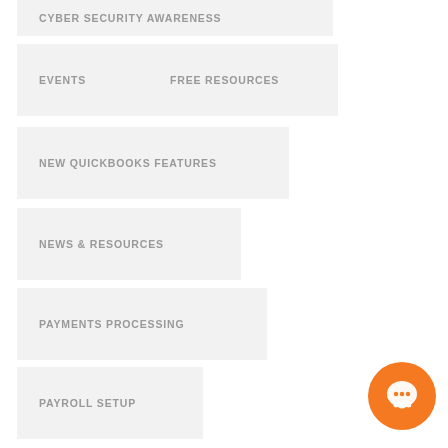CYBER SECURITY AWARENESS
EVENTS
FREE RESOURCES
NEW QUICKBOOKS FEATURES
NEWS & RESOURCES
PAYMENTS PROCESSING
PAYROLL SETUP
QUICKBOOKS ADD-ONS & EXTENSIONS
QUICKBOOKS COMPANY FILE
QUICKBOOKS DESKTOP
[Figure (illustration): Orange circular chat/support button with white speech bubble icon in bottom right corner]